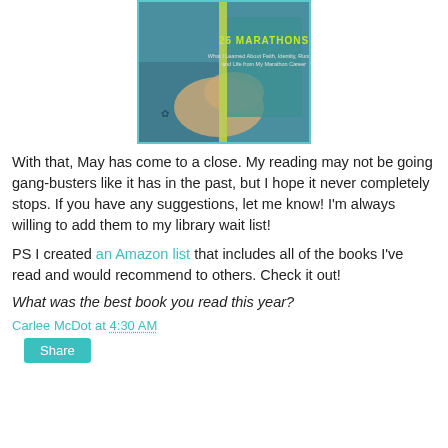[Figure (photo): A hand holding a book titled '26 Marathons: What I Learned About Faith, Identity, Running, and Life from My Marathon Career']
With that, May has come to a close. My reading may not be going gang-busters like it has in the past, but I hope it never completely stops. If you have any suggestions, let me know! I'm always willing to add them to my library wait list!
PS I created an Amazon list that includes all of the books I've read and would recommend to others. Check it out!
What was the best book you read this year?
Carlee McDot at 4:30 AM
Share